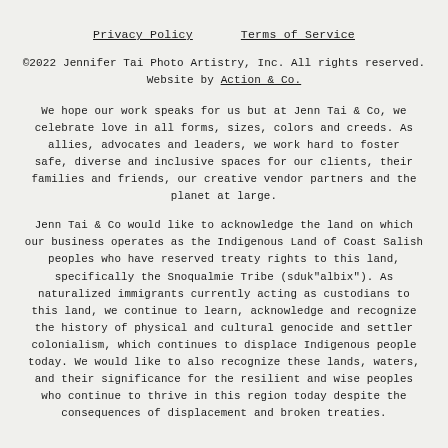Privacy Policy    Terms of Service
©2022 Jennifer Tai Photo Artistry, Inc. All rights reserved. Website by Action & Co.
We hope our work speaks for us but at Jenn Tai & Co, we celebrate love in all forms, sizes, colors and creeds. As allies, advocates and leaders, we work hard to foster safe, diverse and inclusive spaces for our clients, their families and friends, our creative vendor partners and the planet at large.
Jenn Tai & Co would like to acknowledge the land on which our business operates as the Indigenous Land of Coast Salish peoples who have reserved treaty rights to this land, specifically the Snoqualmie Tribe (sduk"albix"). As naturalized immigrants currently acting as custodians to this land, we continue to learn, acknowledge and recognize the history of physical and cultural genocide and settler colonialism, which continues to displace Indigenous people today. We would like to also recognize these lands, waters, and their significance for the resilient and wise peoples who continue to thrive in this region today despite the consequences of displacement and broken treaties.